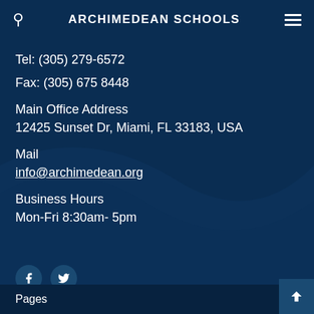ARCHIMEDEAN SCHOOLS
Tel: (305) 279-6572
Fax: (305) 675 8448
Main Office Address
12425 Sunset Dr, Miami, FL 33183, USA
Mail
info@archimedean.org
Business Hours
Mon-Fri 8:30am- 5pm
Pages